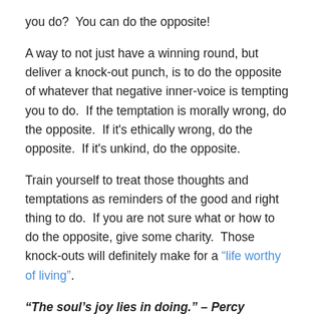you do?  You can do the opposite!
A way to not just have a winning round, but deliver a knock-out punch, is to do the opposite of whatever that negative inner-voice is tempting you to do.  If the temptation is morally wrong, do the opposite.  If it's ethically wrong, do the opposite.  If it's unkind, do the opposite.
Train yourself to treat those thoughts and temptations as reminders of the good and right thing to do.  If you are not sure what or how to do the opposite, give some charity.  Those knock-outs will definitely make for a “life worthy of living”.
“The soul’s joy lies in doing.” – Percy Bysshe Shelley
“Moral action is the meeting place between the human